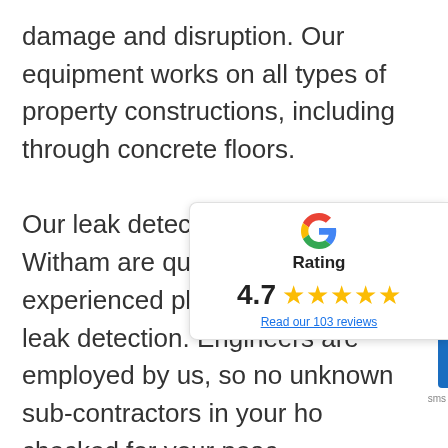damage and disruption. Our equipment works on all types of property constructions, including through concrete floors.

Our leak detection engineers in Witham are qualified and experienced plumbers, trained in leak detection. Engineers are employed by us, so no unknown sub-contractors in your ho checked for your peac same day leak find and an efficient and stress includes removing floors finishes and
[Figure (other): Google rating widget showing 4.7 stars out of 5, with 5 gold stars and a link to read 103 reviews]